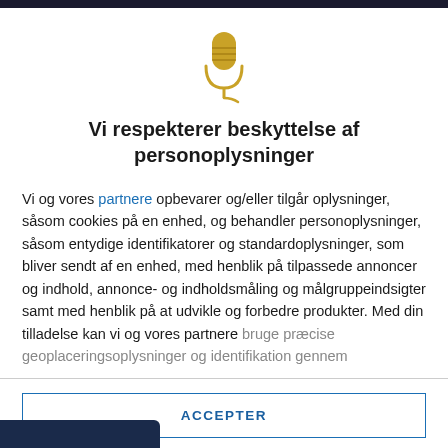[Figure (illustration): Golden microphone icon with cord]
Vi respekterer beskyttelse af personoplysninger
Vi og vores partnere opbevarer og/eller tilgår oplysninger, såsom cookies på en enhed, og behandler personoplysninger, såsom entydige identifikatorer og standardoplysninger, som bliver sendt af en enhed, med henblik på tilpassede annoncer og indhold, annonce- og indholdsmåling og målgruppeindsigter samt med henblik på at udvikle og forbedre produkter. Med din tilladelse kan vi og vores partnere bruge præcise geoplaceringsoplysninger og identifikation gennem
ACCEPTER
FLERE MULIGHEDER